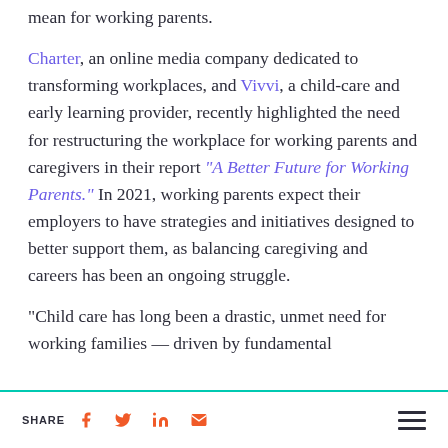mean for working parents.
Charter, an online media company dedicated to transforming workplaces, and Vivvi, a child-care and early learning provider, recently highlighted the need for restructuring the workplace for working parents and caregivers in their report "A Better Future for Working Parents." In 2021, working parents expect their employers to have strategies and initiatives designed to better support them, as balancing caregiving and careers has been an ongoing struggle.
“Child care has long been a drastic, unmet need for working families — driven by fundamental
SHARE